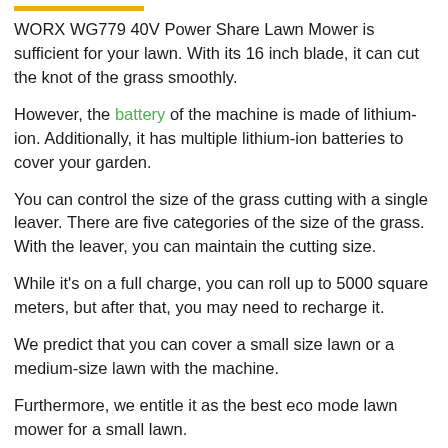WORX WG779 40V Power Share Lawn Mower is sufficient for your lawn. With its 16 inch blade, it can cut the knot of the grass smoothly.
However, the battery of the machine is made of lithium-ion. Additionally, it has multiple lithium-ion batteries to cover your garden.
You can control the size of the grass cutting with a single leaver. There are five categories of the size of the grass. With the leaver, you can maintain the cutting size.
While it's on a full charge, you can roll up to 5000 square meters, but after that, you may need to recharge it.
We predict that you can cover a small size lawn or a medium-size lawn with the machine.
Furthermore, we entitle it as the best eco mode lawn mower for a small lawn.